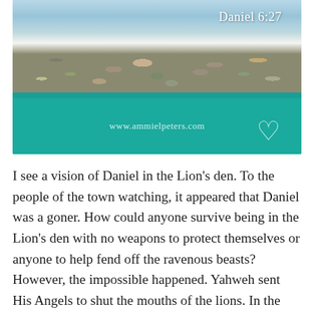[Figure (photo): Beach scene with waves, rocky shoreline with pebbles/stones, and teal/turquoise water. Text overlay reads 'Daniel 6:27' in upper right. Teal banner at bottom with 'www.ammielpeters.com' and a heart symbol.]
I see a vision of Daniel in the Lion's den. To the people of the town watching, it appeared that Daniel was a goner. How could anyone survive being in the Lion's den with no weapons to protect themselves or anyone to help fend off the ravenous beasts? However, the impossible happened. Yahweh sent His Angels to shut the mouths of the lions. In the morning, Daniel emerged out of the den without harm. King Darius was in awe and his heart